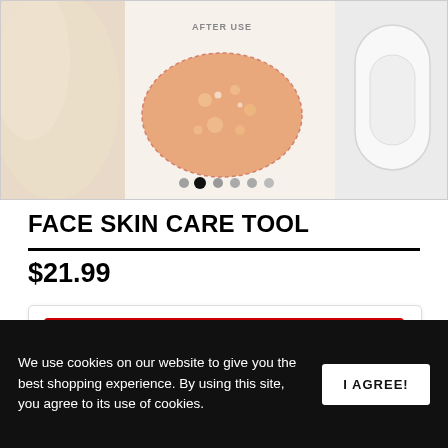[Figure (photo): Product listing screenshot showing a face skin care tool. Left side shows a cream/lotion on skin, center shows 'AFTER USE' label with an oval skin close-up showing pores/glow effect, right side shows the white handheld device. Carousel navigation dots are visible at the bottom of the image.]
FACE SKIN CARE TOOL
$21.99
ADD TO CART
We use cookies on our website to give you the best shopping experience. By using this site, you agree to its use of cookies.
I AGREE!